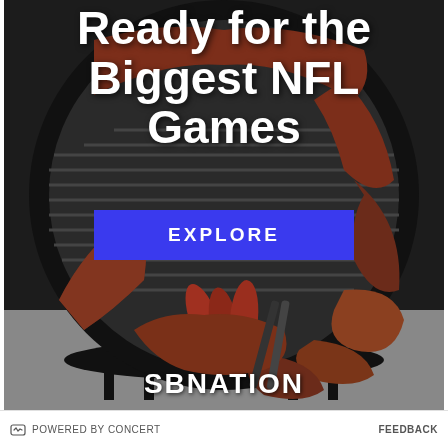[Figure (photo): BBQ advertisement showing a round charcoal grill with ribs, sausages, and other meats cooking, with text overlay reading 'Ready for the Biggest NFL Games', an EXPLORE button, and SBNation logo]
Ready for the Biggest NFL Games
EXPLORE
SBNATION
POWERED BY CONCERT   FEEDBACK